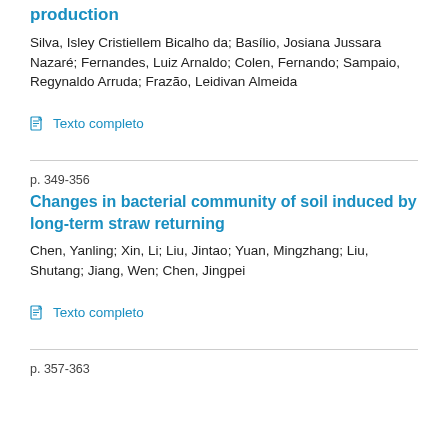production
Silva, Isley Cristiellem Bicalho da; Basílio, Josiana Jussara Nazaré; Fernandes, Luiz Arnaldo; Colen, Fernando; Sampaio, Regynaldo Arruda; Frazão, Leidivan Almeida
Texto completo
p. 349-356
Changes in bacterial community of soil induced by long-term straw returning
Chen, Yanling; Xin, Li; Liu, Jintao; Yuan, Mingzhang; Liu, Shutang; Jiang, Wen; Chen, Jingpei
Texto completo
p. 357-363